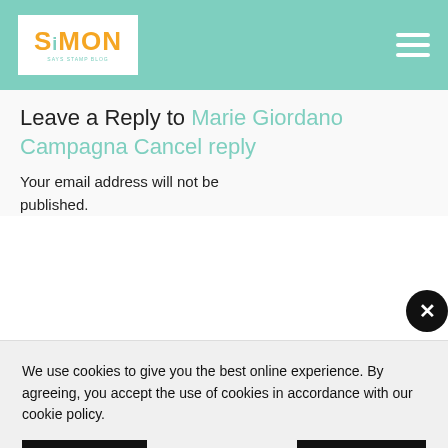Simon Says Stamp Blog – header with logo and hamburger menu
Leave a Reply to Marie Giordano Campagna Cancel reply
Your email address will not be published.
We use cookies to give you the best online experience. By agreeing, you accept the use of cookies in accordance with our cookie policy.
DECLINE | I ACCEPT
Privacy Policy  Cookie Policy